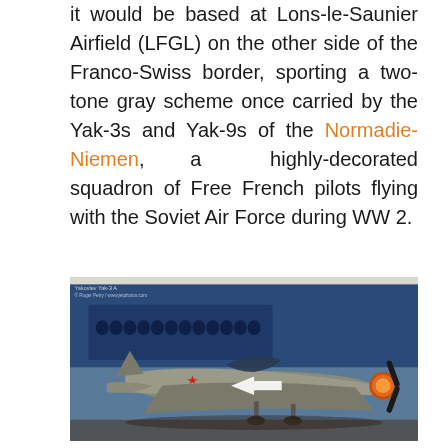it would be based at Lons-le-Saunier Airfield (LFGL) on the other side of the Franco-Swiss border, sporting a two-tone gray scheme once carried by the Yak-3s and Yak-9s of the Normadie-Niemen, a highly-decorated squadron of Free French pilots flying with the Soviet Air Force during WW 2.
[Figure (photo): A Yak aircraft (likely a replica or museum piece) displayed indoors with a large group photo mural in the background showing pilots. The aircraft has a two-tone gray scheme with a red star marking. The propeller spinner is illuminated with orange/warm light. A white arrow is visible on the side of the fuselage.]